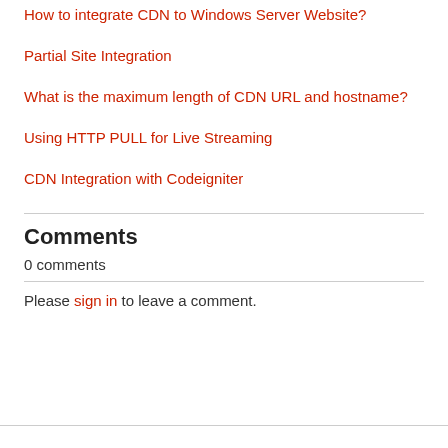How to integrate CDN to Windows Server Website?
Partial Site Integration
What is the maximum length of CDN URL and hostname?
Using HTTP PULL for Live Streaming
CDN Integration with Codeigniter
Comments
0 comments
Please sign in to leave a comment.